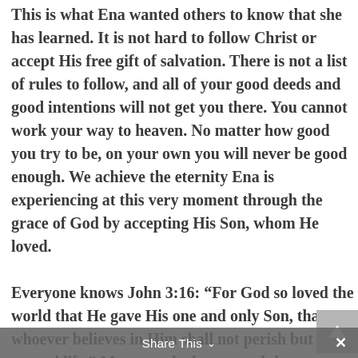This is what Ena wanted others to know that she has learned. It is not hard to follow Christ or accept His free gift of salvation. There is not a list of rules to follow, and all of your good deeds and good intentions will not get you there. You cannot work your way to heaven. No matter how good you try to be, on your own you will never be good enough. We achieve the eternity Ena is experiencing at this very moment through the grace of God by accepting His Son, whom He loved.

Everyone knows John 3:16: “For God so loved the world that He gave His one and only Son, that whoever believes in Him shall not perish but have eternal life.” Most people do not read the next verse, which is equally so important. John 3:17
Share This